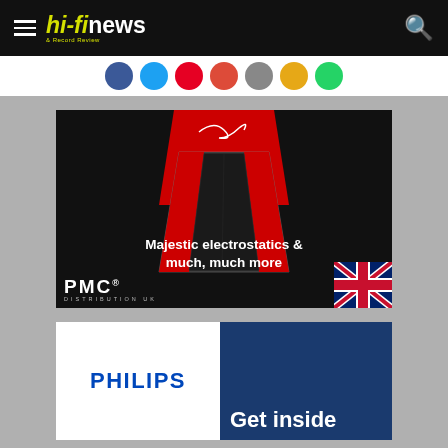hi-fi news & Record Review
[Figure (logo): hi-fi news & Record Review logo with hamburger menu and search icon on black header bar]
[Figure (infographic): Social sharing icons row: Facebook (blue), Twitter (light blue), Pinterest (red), Google+ (red), email (grey), RSS (gold), share (green)]
[Figure (photo): MartinLogan speaker advertisement: dark background with red badge showing MartinLogan logo and 'Truth in Sound' tagline, electrostatic speaker product, text 'Majestic electrostatics & much, much more', PMC Distribution UK logo, UK flag corner]
[Figure (photo): Philips advertisement: white left panel with blue PHILIPS logo, right panel dark blue with 'Get inside' text partially visible]